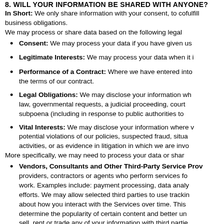8. WILL YOUR INFORMATION BE SHARED WITH ANYONE?
In Short: We only share information with your consent, to comply with laws, to provide you with services, to protect your rights, or to fulfill business obligations.
We may process or share data based on the following legal basis:
Consent: We may process your data if you have given us specific consent to use your personal information in a specific purpose.
Legitimate Interests: We may process your data when it is reasonably necessary to achieve our legitimate business interests.
Performance of a Contract: Where we have entered into a contract with you, we may process your personal information to fulfill the terms of our contract.
Legal Obligations: We may disclose your information where we are legally required to do so in order to comply with applicable law, governmental requests, a judicial proceeding, court order, or legal process, such as in response to a court order or a subpoena (including in response to public authorities to meet national security or law enforcement requirements).
Vital Interests: We may disclose your information where we believe it is necessary to investigate, prevent, or take action regarding potential violations of our policies, suspected fraud, situations involving potential threats to the safety of any person and illegal activities, or as evidence in litigation in which we are involved.
More specifically, we may need to process your data or share your personal information in the following situations:
Vendors, Consultants and Other Third-Party Service Providers. We may share your data with third party vendors, service providers, contractors or agents who perform services for us or on our behalf and require access to such information to do that work. Examples include: payment processing, data analysis, email delivery, hosting services, customer service and marketing efforts. We may allow selected third parties to use tracking technology on the Services, which will enable them to collect data about how you interact with the Services over time. This information may be used to, among other things, analyze and track data, determine the popularity of certain content and better understand online activity. Unless described in this Policy, we do not share, sell, rent or trade any of your information with third parties for their promotional purposes.